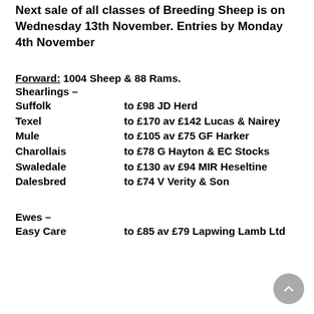Next sale of all classes of Breeding Sheep is on Wednesday 13th November. Entries by Monday 4th November
Forward: 1004 Sheep & 88 Rams.
Shearlings –
Suffolk    to £98 JD Herd
Texel    to £170 av £142 Lucas & Nairey
Mule    to £105 av £75 GF Harker
Charollais    to £78 G Hayton & EC Stocks
Swaledale    to £130 av £94 MIR Heseltine
Dalesbred    to £74 V Verity & Son
Ewes –
Easy Care    to £85 av £79 Lapwing Lamb Ltd